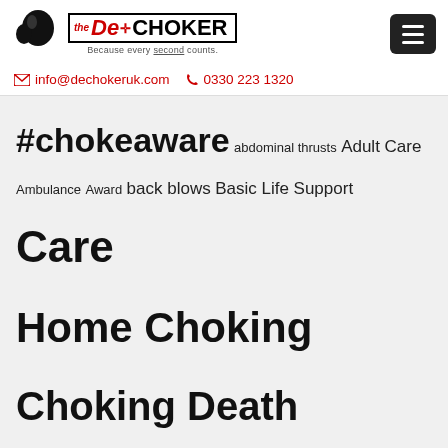[Figure (logo): DeCHOKER logo with head silhouette and text 'Because every second counts.']
info@dechokeruk.com   0330 223 1320
#chokeaware abdominal thrusts Adult Care Ambulance Award back blows Basic Life Support Care Home Choking Choking Death Coroner CPD CPD Certified CQC CQC Inspection Dechoker Dechoker ACD Dementia Dementia Care
This website uses cookies to improve your experience. We'll assume you're ok with this, but you can opt-out if you wish.
Cookie settings   ACCEPT